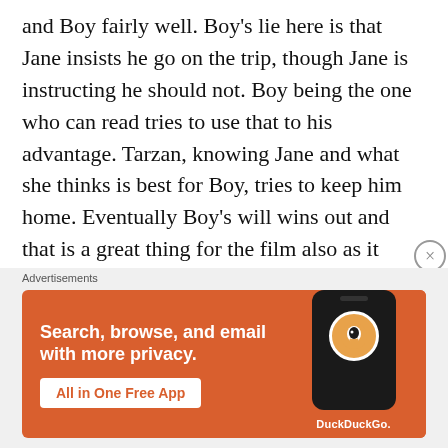and Boy fairly well. Boy's lie here is that Jane insists he go on the trip, though Jane is instructing he should not. Boy being the one who can read tries to use that to his advantage. Tarzan, knowing Jane and what she thinks is best for Boy, tries to keep him home. Eventually Boy's will wins out and that is a great thing for the film also as it doesn't split time having him chase down Tarzan or getting in some other bit of trouble. They start out on the same footing as equals.
Advertisements
[Figure (infographic): DuckDuckGo advertisement banner with orange background. Text reads: 'Search, browse, and email with more privacy. All in One Free App'. Shows a phone graphic with DuckDuckGo logo.]